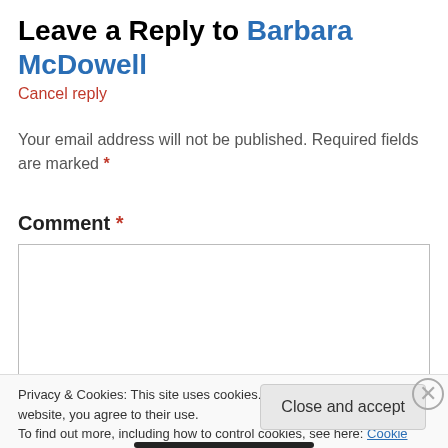Leave a Reply to Barbara McDowell
Cancel reply
Your email address will not be published. Required fields are marked *
Comment *
Privacy & Cookies: This site uses cookies. By continuing to use this website, you agree to their use. To find out more, including how to control cookies, see here: Cookie Policy